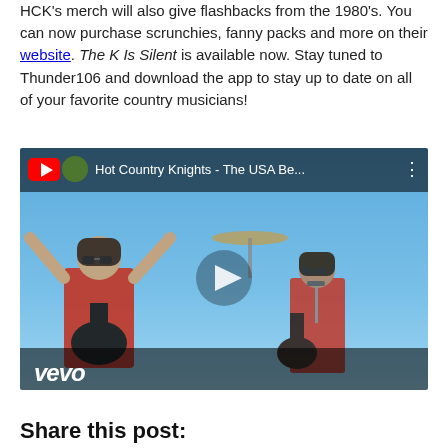HCK's merch will also give flashbacks from the 1980's. You can now purchase scrunchies, fanny packs and more on their website. The K Is Silent is available now. Stay tuned to Thunder106 and download the app to stay up to date on all of your favorite country musicians!
[Figure (screenshot): YouTube/Vevo video embed thumbnail showing Hot Country Knights performing on stage with the title 'Hot Country Knights - The USA Be...' and a play button overlay. The vevo logo appears in the bottom left.]
Share this post: